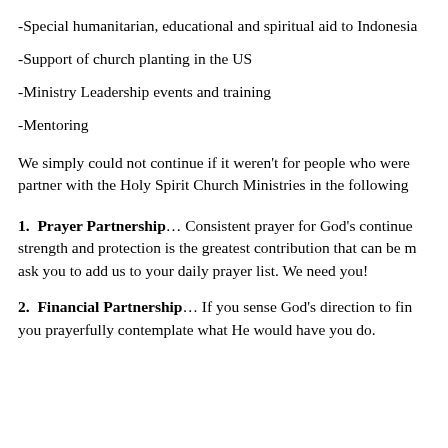-Special humanitarian, educational and spiritual aid to Indonesia
-Support of church planting in the US
-Ministry Leadership events and training
-Mentoring
We simply could not continue if it weren't for people who were willing to partner with the Holy Spirit Church Ministries in the following ways:
1.  Prayer Partnership… Consistent prayer for God's continued strength and protection is the greatest contribution that can be made. We ask you to add us to your daily prayer list. We need you!
2.  Financial Partnership… If you sense God's direction to financially, we ask you prayerfully contemplate what He would have you do.